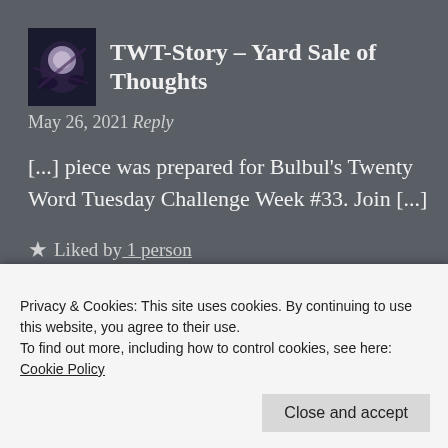[Figure (photo): Avatar/profile photo thumbnail showing a dark floral or decorative image]
TWT-Story – Yard Sale of Thoughts
May 26, 2021 Reply
[...] piece was prepared for Bulbul's Twenty Word Tuesday Challenge Week #33. Join [...]
★ Liked by 1 person
Privacy & Cookies: This site uses cookies. By continuing to use this website, you agree to their use.
To find out more, including how to control cookies, see here: Cookie Policy
Close and accept